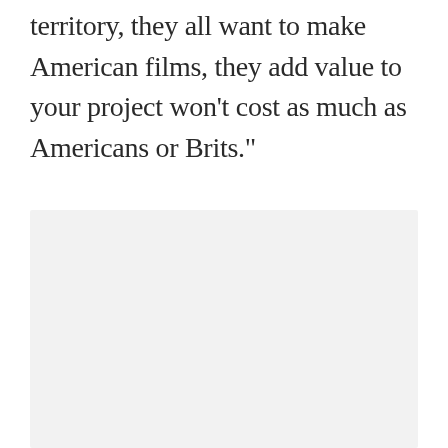territory, they all want to make American films, they add value to your project won't cost as much as Americans or Brits."
[Figure (photo): A light gray/off-white rectangular image placeholder occupying the lower portion of the page.]